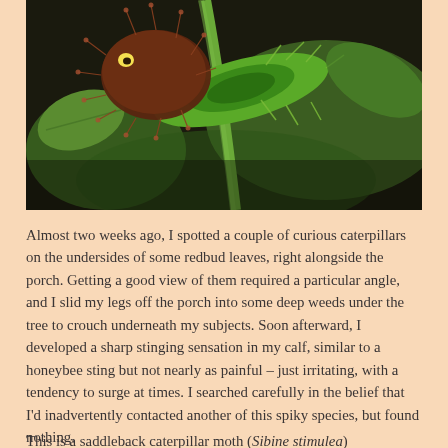[Figure (photo): Close-up macro photograph of a saddleback caterpillar (Sibine stimulea) on a plant. The caterpillar has a dark reddish-brown spiky head and a green body with spiny protrusions, clinging to a green stem with leaves visible in the background.]
Almost two weeks ago, I spotted a couple of curious caterpillars on the undersides of some redbud leaves, right alongside the porch. Getting a good view of them required a particular angle, and I slid my legs off the porch into some deep weeds under the tree to crouch underneath my subjects. Soon afterward, I developed a sharp stinging sensation in my calf, similar to a honeybee sting but not nearly as painful – just irritating, with a tendency to surge at times. I searched carefully in the belief that I'd inadvertently contacted another of this spiky species, but found nothing.
This is a saddleback caterpillar moth (Sibine stimulea)